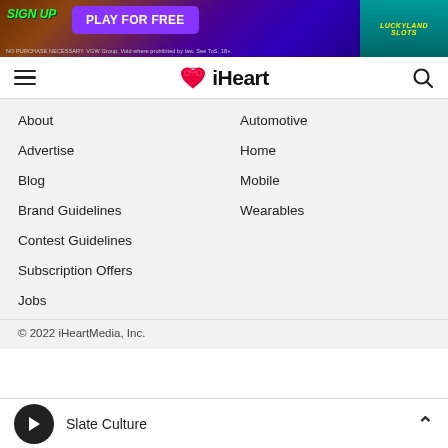[Figure (screenshot): Advertisement banner: Sign Up - Play For Free, LuckyLand Slots. NO PURCHASE NECESSARY. VGW Group. Void where prohibited by law. See ToS. 18+]
iHeart navigation bar with hamburger menu and search icon
About
Automotive
Advertise
Home
Blog
Mobile
Brand Guidelines
Wearables
Contest Guidelines
Subscription Offers
Jobs
© 2022 iHeartMedia, Inc.
Slate Culture